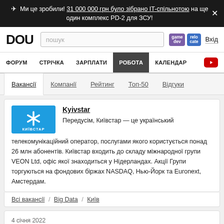✈ Ми це зробили! 31 000 000 грн було зібрано IT-спільнотою на ще один комплекс PD-2 для ЗСУ!
[Figure (logo): DOU website logo and navigation bar with search box, gamedev and relocate badges, and login link]
ФОРУМ
СТРІЧКА
ЗАРПЛАТИ
РОБОТА
КАЛЕНДАР
Вакансії
Компанії
Рейтинг
Топ-50
Відгуки
Kyivstar
Передусім, Київстар — це український телекомунікаційний оператор, послугами якого користується понад 26 млн абонентів. Київстар входить до складу міжнародної групи VEON Ltd, офіс якої знаходиться у Нідерландах. Акції Групи торгуються на фондових біржах NASDAQ, Нью-Йорк та Euronext, Амстердам.
Всі вакансії / Big Data / Київ
4 січня 2022